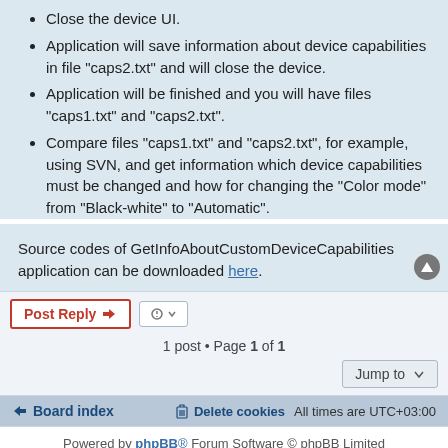Close the device UI.
Application will save information about device capabilities in file "caps2.txt" and will close the device.
Application will be finished and you will have files "caps1.txt" and "caps2.txt".
Compare files "caps1.txt" and "caps2.txt", for example, using SVN, and get information which device capabilities must be changed and how for changing the "Color mode" from "Black-white" to "Automatic".
Source codes of GetInfoAboutCustomDeviceCapabilities application can be downloaded here.
1 post • Page 1 of 1
Board index   Delete cookies   All times are UTC+03:00
Powered by phpBB® Forum Software © phpBB Limited   Privacy | Terms